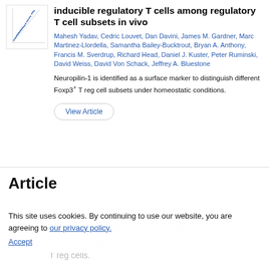[Figure (scatter-plot): Small scatter plot thumbnail showing blue data points in a diagonal pattern against white background]
inducible regulatory T cells among regulatory T cell subsets in vivo
Mahesh Yadav, Cedric Louvet, Dan Davini, James M. Gardner, Marc Martinez-Llordella, Samantha Bailey-Bucktrout, Bryan A. Anthony, Francis M. Sverdrup, Richard Head, Daniel J. Kuster, Peter Ruminski, David Weiss, David Von Schack, Jeffrey A. Bluestone
Neuropilin-1 is identified as a surface marker to distinguish different Foxp3+ T reg cell subsets under homeostatic conditions.
View Article
Article
This site uses cookies. By continuing to use our website, you are agreeing to our privacy policy. Accept
Neuropilin-1 is expressed on thymus-derived natural regulatory T cells, but not mucosa-generated induced Foxp3+ T reg cells.